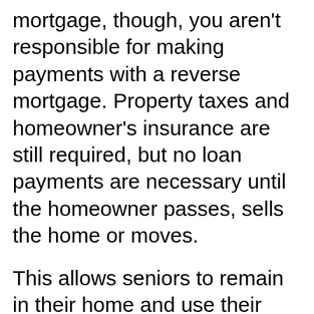mortgage, though, you aren't responsible for making payments with a reverse mortgage. Property taxes and homeowner's insurance are still required, but no loan payments are necessary until the homeowner passes, sells the home or moves.
This allows seniors to remain in their home and use their home's equity to pay for other expenses. For seniors whose finances are unstable, a reverse mortgage can provide needed support. However, there are risks associated with a reverse mortgage, though some risks can be avoided with proper financial